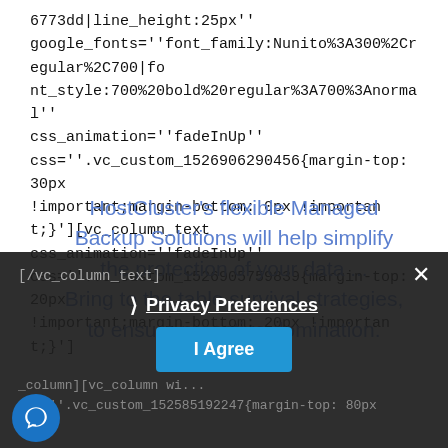6773dd|line_height:25px'' google_fonts=''font_family:Nunito%3A300%2Cregular%2C700|font_style:700%20bold%20regular%3A700%3Anormal'' css_animation=''fadeInUp'' css=''.vc_custom_1526906290456{margin-top: 30px !important;margin-bottom: 0px !important;}'][vc_column_text css_animation=''fadeInUp'' css=''.vc_custom_1526905759839{margin-top: 20px !important;margin-bottom: 20px !important;}']
HostCluster's flexible Managed Backup Solutions will help simplify the protection of your data ... Bring to the table survival strategies, to ensure proactive domination.
[/vc_column_text]
Privacy Preferences
I Agree
_column][vc_column wi... css=''.vc_custom_152585192247{margin-top: 80px